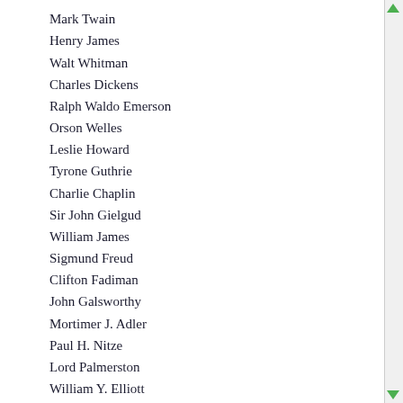Mark Twain
Henry James
Walt Whitman
Charles Dickens
Ralph Waldo Emerson
Orson Welles
Leslie Howard
Tyrone Guthrie
Charlie Chaplin
Sir John Gielgud
William James
Sigmund Freud
Clifton Fadiman
John Galsworthy
Mortimer J. Adler
Paul H. Nitze
Lord Palmerston
William Y. Elliott
Harry A. Blackmun
Lewis F. Powell, Jr.